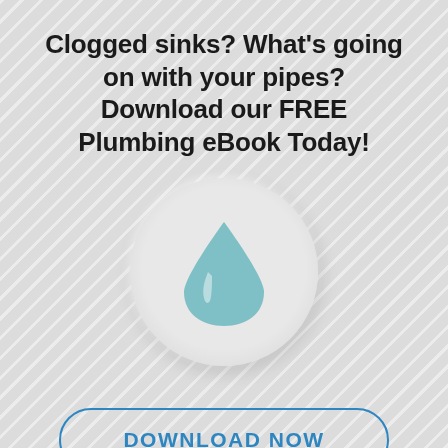Clogged sinks? What's going on with your pipes? Download our FREE Plumbing eBook Today!
[Figure (illustration): A circular light-grey embossed button with a teal water drop icon in the center]
DOWNLOAD NOW